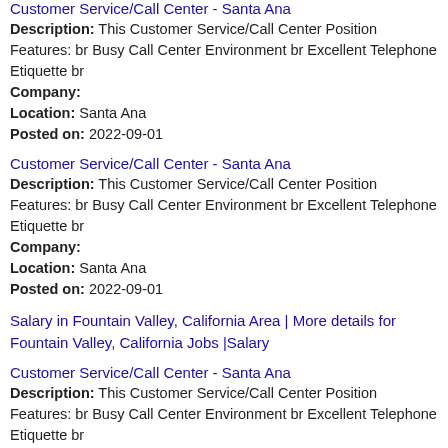Customer Service/Call Center - Santa Ana
Description: This Customer Service/Call Center Position Features: br Busy Call Center Environment br Excellent Telephone Etiquette br
Company:
Location: Santa Ana
Posted on: 2022-09-01
Customer Service/Call Center - Santa Ana
Description: This Customer Service/Call Center Position Features: br Busy Call Center Environment br Excellent Telephone Etiquette br
Company:
Location: Santa Ana
Posted on: 2022-09-01
Salary in Fountain Valley, California Area | More details for Fountain Valley, California Jobs |Salary
Customer Service/Call Center - Santa Ana
Description: This Customer Service/Call Center Position Features: br Busy Call Center Environment br Excellent Telephone Etiquette br
Company:
Location: Santa Ana
Posted on: 2022-09-01
$14 - $16/hr Call Center/Sales - Great Work Environment